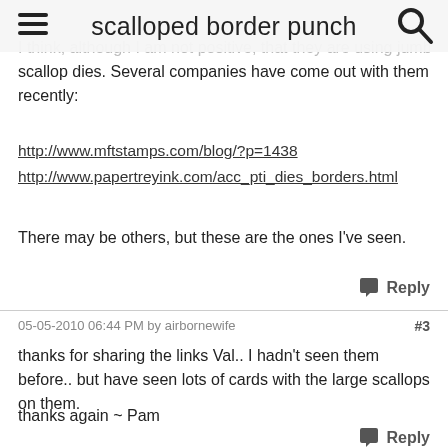scalloped border punch
I think, although I am not positive, that they are using jumbo scallop dies. Several companies have come out with them recently:
http://www.mftstamps.com/blog/?p=1438
http://www.papertreyink.com/acc_pti_dies_borders.html
There may be others, but these are the ones I've seen.
Reply
05-05-2010 06:44 PM by airbornewife   #3
thanks for sharing the links Val.. I hadn't seen them before.. but have seen lots of cards with the large scallops on them.
thanks again ~ Pam
Reply